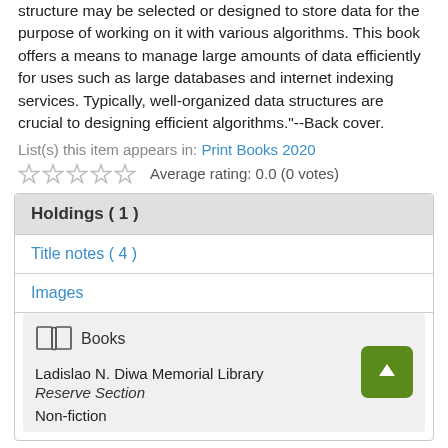structure may be selected or designed to store data for the purpose of working on it with various algorithms. This book offers a means to manage large amounts of data efficiently for uses such as large databases and internet indexing services. Typically, well-organized data structures are crucial to designing efficient algorithms."--Back cover.
List(s) this item appears in: Print Books 2020
Average rating: 0.0 (0 votes)
| Holdings ( 1 ) |
| Title notes ( 4 ) |
| Images |
| Books | Ladislao N. Diwa Memorial Library Reserve Section Non-fiction |